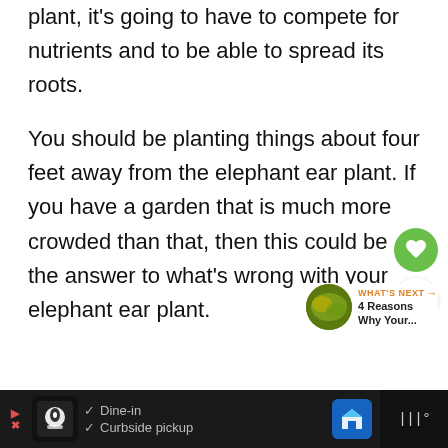plant, it's going to have to compete for nutrients and to be able to spread its roots.
You should be planting things about four feet away from the elephant ear plant. If you have a garden that is much more crowded than that, then this could be the answer to what's wrong with your elephant ear plant.
[Figure (other): WHAT'S NEXT arrow label with thumbnail image and text '4 Reasons Why Your...']
[Figure (other): Advertisement bar at bottom with restaurant logo, dine-in and curbside pickup checkmarks, Google Maps icon, and streaming icon]